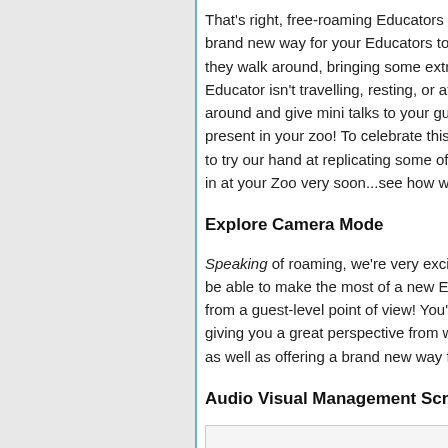That's right, free-roaming Educators w... brand new way for your Educators to... they walk around, bringing some extr... Educator isn't travelling, resting, or at... around and give mini talks to your gu... present in your zoo! To celebrate this... to try our hand at replicating some of... in at your Zoo very soon...see how w...
Explore Camera Mode
Speaking of roaming, we're very exci... be able to make the most of a new Ex... from a guest-level point of view! You'l... giving you a great perspective from w... as well as offering a brand new way f...
Audio Visual Management Screen ...
[Figure (screenshot): A screenshot or image placeholder box with light gray background]